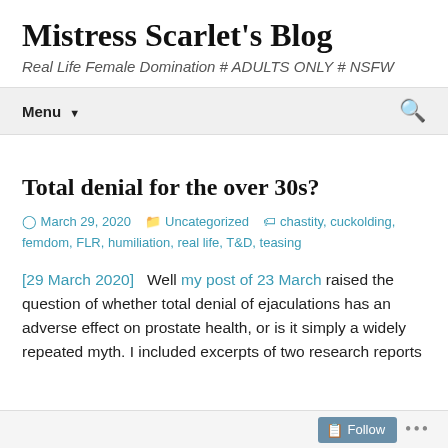Mistress Scarlet's Blog
Real Life Female Domination # ADULTS ONLY # NSFW
Menu ▾
Total denial for the over 30s?
March 29, 2020   Uncategorized   chastity, cuckolding, femdom, FLR, humiliation, real life, T&D, teasing
[29 March 2020]  Well my post of 23 March raised the question of whether total denial of ejaculations has an adverse effect on prostate health, or is it simply a widely repeated myth. I included excerpts of two research reports
Follow ...